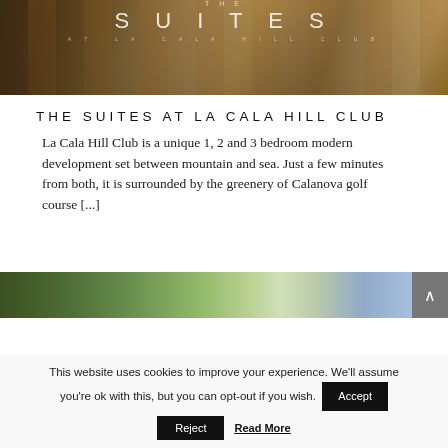[Figure (photo): Hero image of The Suites at La Cala Hill Club showing outdoor terrace with wicker chairs and wooden tables, overlaid with text 'THE SUITES AT LA CALA HILL CLUB']
THE SUITES AT LA CALA HILL CLUB
La Cala Hill Club is a unique 1, 2 and 3 bedroom modern development set between mountain and sea. Just a few minutes from both, it is surrounded by the greenery of Calanova golf course [...]
[Figure (photo): Partial view of La Cala Hill Club property showing lush greenery, rocks, trees and white apartment buildings]
This website uses cookies to improve your experience. We'll assume you're ok with this, but you can opt-out if you wish.
Accept
Reject
Read More